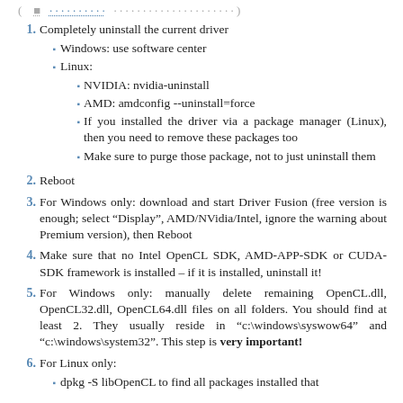1. Completely uninstall the current driver
Windows: use software center
Linux:
NVIDIA: nvidia-uninstall
AMD: amdconfig --uninstall=force
If you installed the driver via a package manager (Linux), then you need to remove these packages too
Make sure to purge those package, not to just uninstall them
2. Reboot
3. For Windows only: download and start Driver Fusion (free version is enough; select “Display”, AMD/NVidia/Intel, ignore the warning about Premium version), then Reboot
4. Make sure that no Intel OpenCL SDK, AMD-APP-SDK or CUDA-SDK framework is installed – if it is installed, uninstall it!
5. For Windows only: manually delete remaining OpenCL.dll, OpenCL32.dll, OpenCL64.dll files on all folders. You should find at least 2. They usually reside in “c:\windows\syswow64” and “c:\windows\system32”. This step is very important!
6. For Linux only:
dpkg -S libOpenCL to find all packages installed that